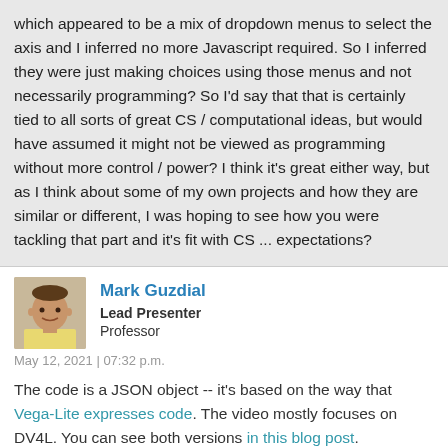which appeared to be a mix of dropdown menus to select the axis and I inferred no more Javascript required. So I inferred they were just making choices using those menus and not necessarily programming?  So I'd say that that is certainly tied to all sorts of great CS / computational ideas, but would have assumed it might not be viewed as programming without more control / power?  I think it's great either way, but as I think about some of my own projects and how they are similar or different, I was hoping to see how you were tackling that part and it's fit with CS ... expectations?
Mark Guzdial
Lead Presenter
Professor
May 12, 2021 | 07:32 p.m.
The code is a JSON object -- it's based on the way that Vega-Lite expresses code. The video mostly focuses on DV4L.  You can see both versions in this blog post.
http://historyindata.org/dv4l/ is the base version, where code is only visible when you click on a saved graph.
http://historyindata.org/dv4l/scripting/ is the scripting version